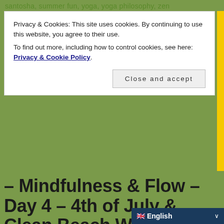santosha, summer fun, yoga, yoga philosophy, zen
Privacy & Cookies: This site uses cookies. By continuing to use this website, you agree to their use.
To find out more, including how to control cookies, see here: Privacy & Cookie Policy
– Mindfulness & Flow – Day 4 – 4th of July & Clean Beach Week – 2021
07/04/2021
posted in 2-niyamas, fun, holiday, intro info, n2-santosha, philosophy
Good Morning Yogis! For those of you in the United States, it is Independence Day – Happy 4th of July! We are in the middle of a special Sa... Mindfulness & Flow...